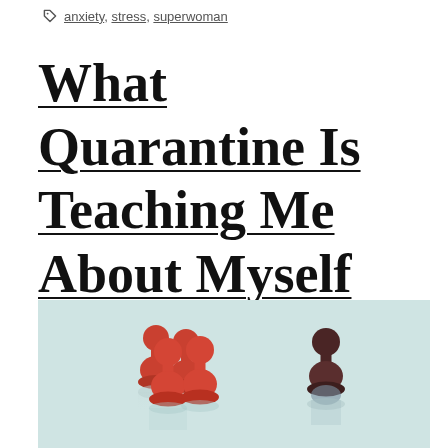anxiety, stress, superwoman
What Quarantine Is Teaching Me About Myself and My Marriage
[Figure (photo): Four red game pawns grouped together on the left, and one dark brown/maroon game pawn standing alone on the right, both on a light blue-green surface with reflections visible below them.]